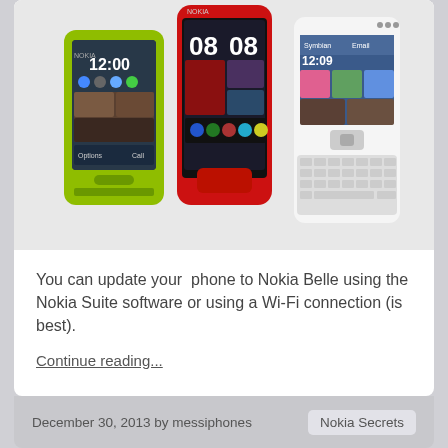[Figure (photo): Three Nokia smartphones shown side by side: a green Nokia with touchscreen (left), a red Nokia with touchscreen showing a music/widget screen (center), and a white Nokia with QWERTY keyboard (right).]
You can update your phone to Nokia Belle using the Nokia Suite software or using a Wi-Fi connection (is best).
Continue reading...
December 30, 2013 by messiphones   Nokia Secrets